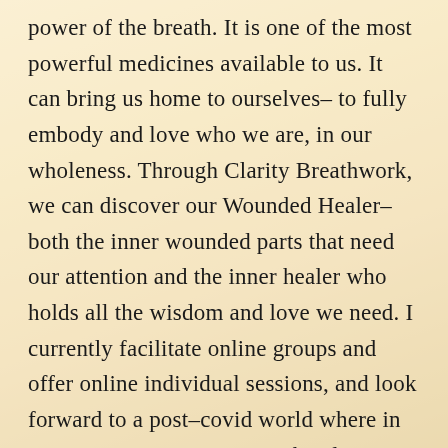power of the breath. It is one of the most powerful medicines available to us. It can bring us home to ourselves– to fully embody and love who we are, in our wholeness. Through Clarity Breathwork, we can discover our Wounded Healer– both the inner wounded parts that need our attention and the inner healer who holds all the wisdom and love we need. I currently facilitate online groups and offer online individual sessions, and look forward to a post–covid world where in person sessions can again take place.